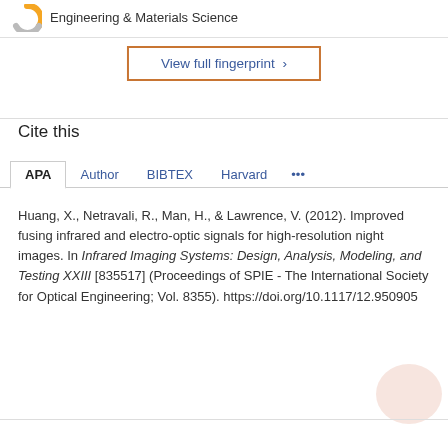[Figure (donut-chart): Partial donut chart icon in orange/grey representing Engineering & Materials Science]
Engineering & Materials Science
View full fingerprint >
Cite this
APA  Author  BIBTEX  Harvard  ...
Huang, X., Netravali, R., Man, H., & Lawrence, V. (2012). Improved fusing infrared and electro-optic signals for high-resolution night images. In Infrared Imaging Systems: Design, Analysis, Modeling, and Testing XXIII [835517] (Proceedings of SPIE - The International Society for Optical Engineering; Vol. 8355). https://doi.org/10.1117/12.950905